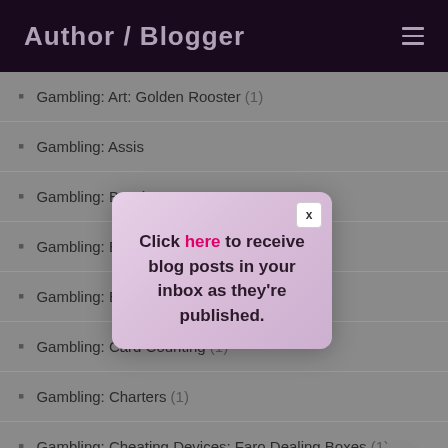Author / Blogger
Gambling: Art: Golden Rooster (1)
Gambling: Assis… [partially hidden]
Gambling: Ban … [partially hidden]
Gambling: Book … [partially hidden]
Gambling: Buck … [partially hidden]
Gambling: Card Counting (1)
Gambling: Charters (1)
Gambling: Cheating Devices: Faro Dealing Boxes (1)
[Figure (screenshot): Modal popup with lavender/pink background showing text: Click here to receive blog posts in your inbox as they're published. Has an X close button in the top right corner.]